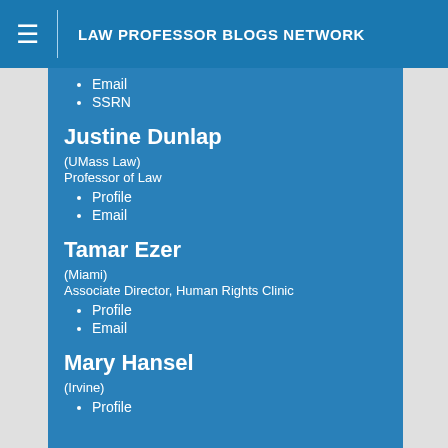LAW PROFESSOR BLOGS NETWORK
Email
SSRN
Justine Dunlap
(UMass Law)
Professor of Law
Profile
Email
Tamar Ezer
(Miami)
Associate Director, Human Rights Clinic
Profile
Email
Mary Hansel
(Irvine)
Profile